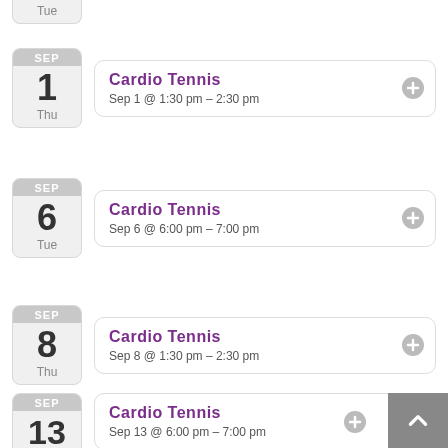Tue (partial date badge at top)
Cardio Tennis — Sep 1 @ 1:30 pm – 2:30 pm (Thu, SEP 1)
Cardio Tennis — Sep 6 @ 6:00 pm – 7:00 pm (Tue, SEP 6)
Cardio Tennis — Sep 8 @ 1:30 pm – 2:30 pm (Thu, SEP 8)
Cardio Tennis — Sep 13 @ 6:00 pm – 7:00 pm (Tue, SEP 13)